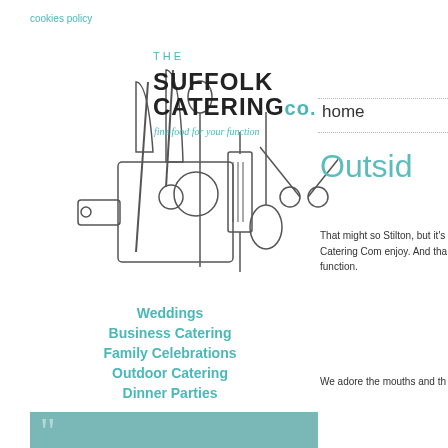cookies policy
[Figure (logo): The Suffolk Catering Co. logo with kitchen utensils illustration and tagline 'fine food for your function']
Weddings
Business Catering
Family Celebrations
Outdoor Catering
Dinner Parties
[Figure (photo): Teal/grey banner with large quotation mark]
home
Outsid
That might so Stilton, but it's Catering Com enjoy. And tha function.
We adore the mouths and th